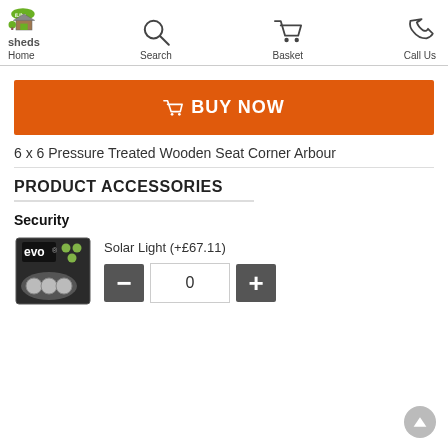iLikesheds — Home | Search | Basket | Call Us
BUY NOW
6 x 6 Pressure Treated Wooden Seat Corner Arbour
PRODUCT ACCESSORIES
Security
[Figure (photo): EVO solar light product box]
Solar Light (+£67.11)
quantity control: minus, 0, plus